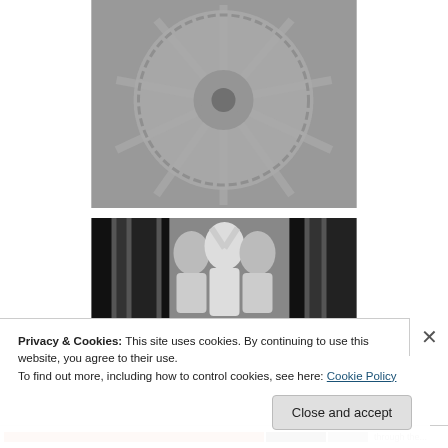[Figure (photo): Black and white overhead/kaleidoscopic photo of dancers arranged in a circular pattern with legs radiating outward, likely a Busby Berkeley-style production still.]
[Figure (photo): Black and white photo of three performers, two flanking a central figure who has arms raised above head, all appearing to be in glamorous 1930s style costume/makeup.]
Privacy & Cookies: This site uses cookies. By continuing to use this website, you agree to their use.
To find out more, including how to control cookies, see here: Cookie Policy
Close and accept